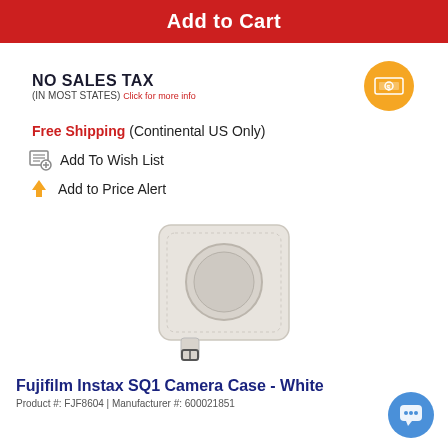Add to Cart
NO SALES TAX (IN MOST STATES) Click for more info
Free Shipping (Continental US Only)
Add To Wish List
Add to Price Alert
[Figure (photo): Fujifilm Instax SQ1 Camera Case in white, a square boxy cream/white leather case with circular lens area and a strap.]
Fujifilm Instax SQ1 Camera Case - White
Product #: FJF8604 | Manufacturer #: 600021851